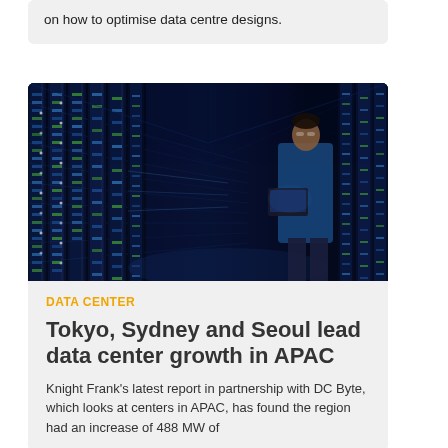on how to optimise data centre designs.
[Figure (photo): A person in a blue shirt standing in a data center corridor, holding a laptop, surrounded by illuminated server racks with blue and green lights.]
DATA CENTER
Tokyo, Sydney and Seoul lead data center growth in APAC
Knight Frank's latest report in partnership with DC Byte, which looks at centers in APAC, has found the region had an increase of 488 MW of